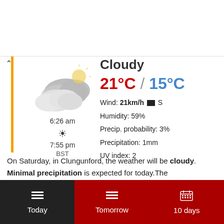[Figure (illustration): Cloudy weather icon — grey clouds with a slight sun behind]
Cloudy
21°C / 15°C
Wind: 21km/h ▶ S
Humidity: 59%
Precip. probability: 3%
Precipitation: 1mm
UV index: 2
6:26 am
☀
7:55 pm
BST
On Saturday, in Clungunford, the weather will be cloudy.
Minimal precipitation is expected for today.The
Today | Tomorrow | 10 days